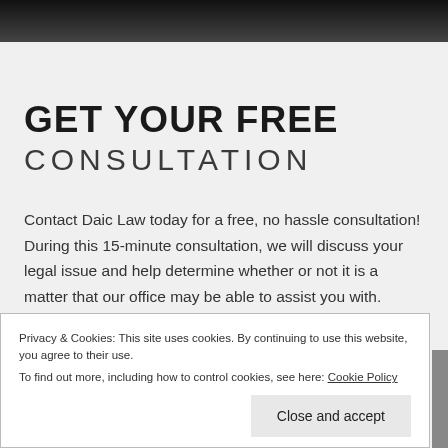GET YOUR FREE CONSULTATION
Contact Daic Law today for a free, no hassle consultation! During this 15-minute consultation, we will discuss your legal issue and help determine whether or not it is a matter that our office may be able to assist you with.
Privacy & Cookies: This site uses cookies. By continuing to use this website, you agree to their use. To find out more, including how to control cookies, see here: Cookie Policy
Close and accept